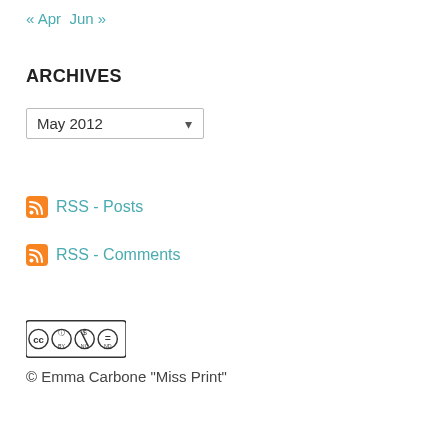« Apr   Jun »
ARCHIVES
May 2012 (dropdown)
RSS - Posts
RSS - Comments
[Figure (logo): Creative Commons BY NC ND license badge]
© Emma Carbone "Miss Print"